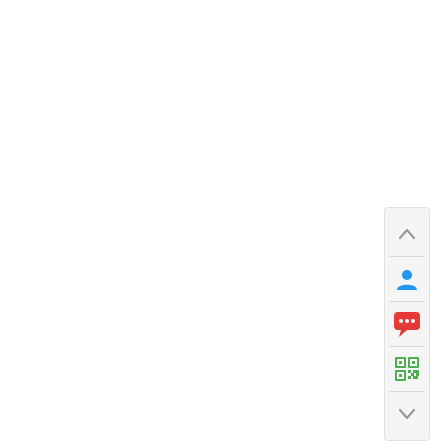[Figure (screenshot): A vertical sidebar UI widget with a light gray background and border, containing: an up chevron arrow at the top, a blue person/user icon, an orange/red chat bubble with dots icon, a green QR code icon, and a down chevron arrow at the bottom. Each icon is separated by a thin horizontal divider line.]